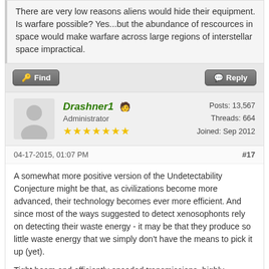There are very low reasons aliens would hide their equipment. Is warfare possible? Yes...but the abundance of rescources in space would make warfare across large regions of interstellar space impractical.
Find | Reply
Drashner1  Administrator ★★★★★★★  Posts: 13,567  Threads: 664  Joined: Sep 2012
04-17-2015, 01:07 PM  #17
A somewhat more positive version of the Undetectability Conjecture might be that, as civilizations become more advanced, their technology becomes ever more efficient. And since most of the ways suggested to detect xenosophonts rely on detecting their waste energy - it may be that they produce so little waste energy that we simply don't have the means to pick it up (yet).
Tight beam and efficiently encoded transmissions, highly advanced drive systems that focus the majority of their